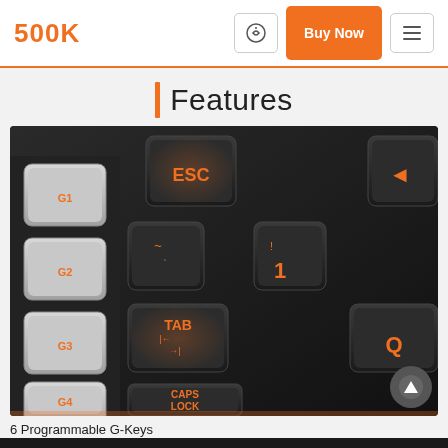500K | Buy Now
Features
[Figure (photo): Close-up photo of a gaming keyboard showing G1, G2, G3, G4 programmable white keys on the left, and illuminated keys ESC, tilde, TAB, CAPS LOCK, 1, Q with orange backlighting on the right]
6 Programmable G-Keys